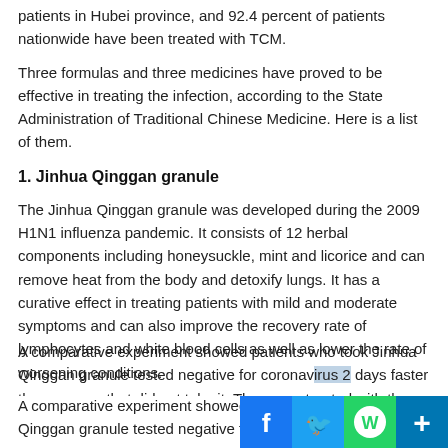patients in Hubei province, and 92.4 percent of patients nationwide have been treated with TCM.
Three formulas and three medicines have proved to be effective in treating the infection, according to the State Administration of Traditional Chinese Medicine. Here is a list of them.
1. Jinhua Qinggan granule
The Jinhua Qinggan granule was developed during the 2009 H1N1 influenza pandemic. It consists of 12 herbal components including honeysuckle, mint and licorice and can remove heat from the body and detoxify lungs. It has a curative effect in treating patients with mild and moderate symptoms and can also improve the recovery rate of lymphocytes and white blood cells as well as lower the rate of worsening conditions.
A comparative experiment showed patients who took Jinhua Qinggan granule tested negative for coronavirus 2 days faster than a group that did not take it. The group treated with the granule